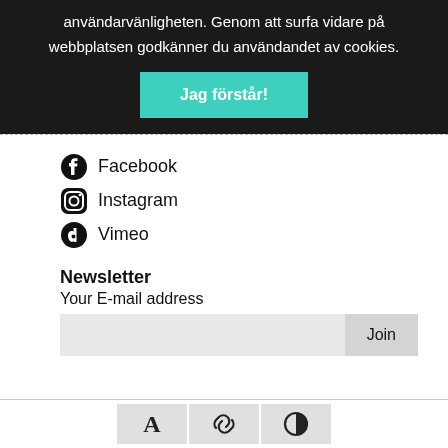användarvänligheten. Genom att surfa vidare på webbplatsen godkänner du användandet av cookies.
Jag förstår!
Facebook
Instagram
Vimeo
Newsletter
Your E-mail address
Join
[Figure (infographic): Bottom toolbar with three icon buttons: A (font), link, and contrast/half-circle icons]